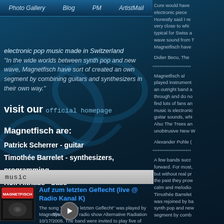Photo Gallery  Blog  PM  ArtistMail
electronic pop music made in Switzerland
"In the wide worlds between synth pop and new wave, Magnetfisch have sort of created an own segment by combining guitars and synthesizers in their own way."
visit our official homepage
Magnetfisch are:
Patrick Scherrer - guitar
Timothée Barrelet - synthesizers, programming
Rolf Althaus - bass
music
[Figure (photo): Magnetfisch album thumbnail showing band photo in dark tones]
Auf zum letzten Geflecht (live @ Radio Kanal K)
The song "auf zum letzten Geflecht" was played by Magnetfisch at the radio show Alternative Radiation 10/17/2005. The band were invited to play five of their newest songs by DJ Leo, a Swiss
Cure would have electronic piece Honestly said I re very close to whi typical for Swiss a wave sound from T Magnetfisch have
Didier Becu, The
**********************
Magnetfisch al played instrument an outright band a through and do no find lots of fans an music is electronic guitar sounds, whi Also The Trees an unobtrusive New W
Alexander Pohle (
**********************
A few bands succ forward. For most, but without real pr the past they prow calm and melodio Timothée Barrelet was rejoined by ba synth pop and new segment by comb